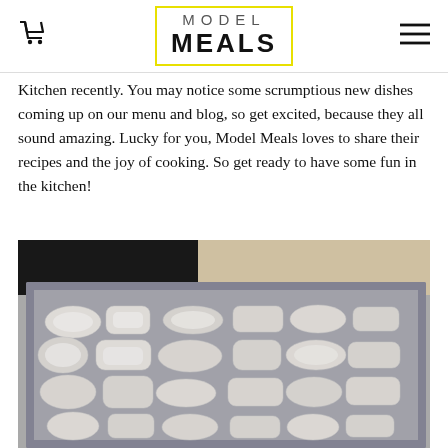MODEL MEALS
Kitchen recently. You may notice some scrumptious new dishes coming up on our menu and blog, so get excited, because they all sound amazing. Lucky for you, Model Meals loves to share their recipes and the joy of cooking. So get ready to have some fun in the kitchen!
[Figure (photo): A baking tray filled with multiple pieces of raw white fish fillets arranged in rows, photographed from a slightly elevated angle in a kitchen setting.]